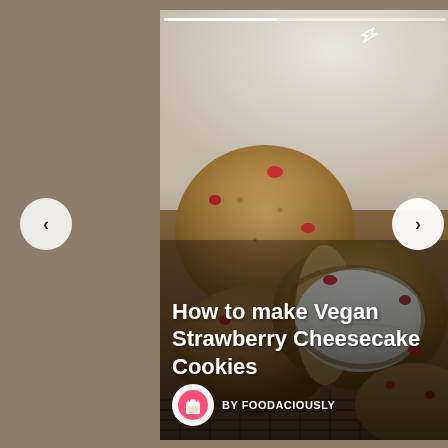[Figure (photo): Photo of vegan strawberry cheesecake cookies stacked on a wire rack. One cookie is cut in half showing a creamy white cheesecake filling inside. The cookies are golden-brown with visible red strawberry pieces.]
How to make Vegan Strawberry Cheesecake Cookies
BY FOODACIOUSLY